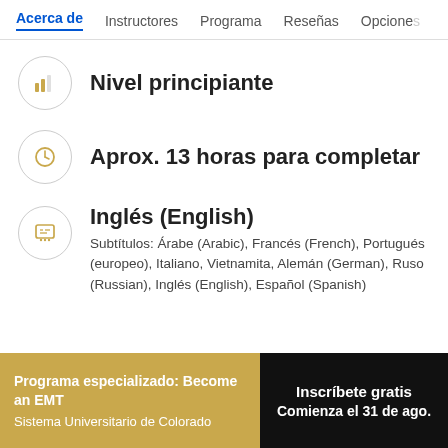Acerca de  Instructores  Programa  Reseñas  Opciones
Nivel principiante
Aprox. 13 horas para completar
Inglés (English)
Subtítulos: Árabe (Arabic), Francés (French), Portugués (europeo), Italiano, Vietnamita, Alemán (German), Ruso (Russian), Inglés (English), Español (Spanish)
Programa especializado: Become an EMT
Sistema Universitario de Colorado
Inscríbete gratis
Comienza el 31 de ago.